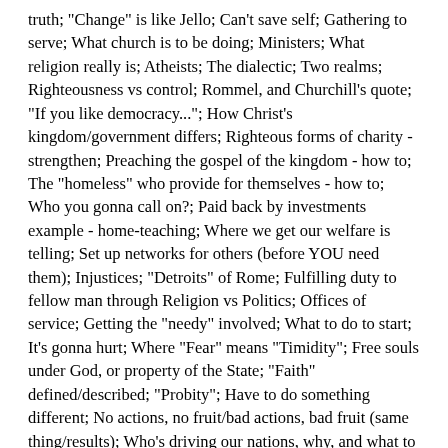truth; "Change" is like Jello; Can't save self; Gathering to serve; What church is to be doing; Ministers; What religion really is; Atheists; The dialectic; Two realms; Righteousness vs control; Rommel, and Churchill's quote; "If you like democracy..."; How Christ's kingdom/government differs; Righteous forms of charity - strengthen; Preaching the gospel of the kingdom - how to; The "homeless" who provide for themselves - how to; Who you gonna call on?; Paid back by investments example - home-teaching; Where we get our welfare is telling; Set up networks for others (before YOU need them); Injustices; "Detroits" of Rome; Fulfilling duty to fellow man through Religion vs Politics; Offices of service; Getting the "needy" involved; What to do to start; It's gonna hurt; Where "Fear" means "Timidity"; Free souls under God, or property of the State; "Faith" defined/described; "Probity"; Have to do something different; No actions, no fruit/bad actions, bad fruit (same thing/results); Who's driving our nations, why, and what to do about it; Sophistry in the garden; "Unspotted" by what, dirt?; "Not re-translating, only quoting"; 1st absolute duty toward others; All legal systems